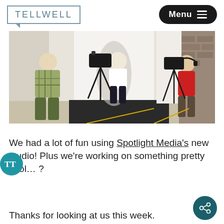TELLWELL
[Figure (photo): A photo/video studio scene with a camera operator on the left with a camera on a tripod, a person in white shirt seated in the center under bright lights, and another camera and crew member on the right side.]
We had a lot of fun using Spotlight Media's new studio! Plus we're working on something pretty cool… ?
Thanks for looking at us this week.